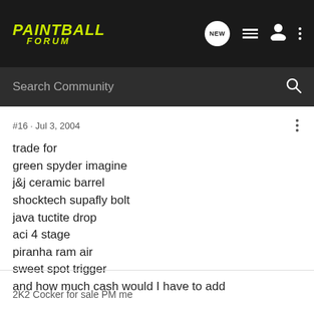PAINTBALL FORUM
Search Community
#16 · Jul 3, 2004
trade for
green spyder imagine
j&j ceramic barrel
shocktech supafly bolt
java tuctite drop
aci 4 stage
piranha ram air
sweet spot trigger
and how much cash would I have to add
2K2 Cocker for sale PM me